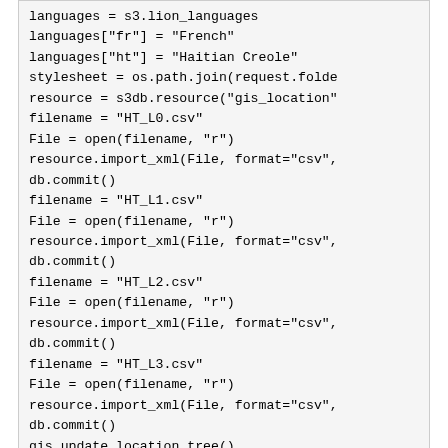languages = s3.lion_languages
languages["fr"] = "French"
languages["ht"] = "Haitian Creole"
stylesheet = os.path.join(request.folde
resource = s3db.resource("gis_location"
filename = "HT_L0.csv"
File = open(filename, "r")
resource.import_xml(File, format="csv",
db.commit()
filename = "HT_L1.csv"
File = open(filename, "r")
resource.import_xml(File, format="csv",
db.commit()
filename = "HT_L2.csv"
File = open(filename, "r")
resource.import_xml(File, format="csv",
db.commit()
filename = "HT_L3.csv"
File = open(filename, "r")
resource.import_xml(File, format="csv",
db.commit()
gis.update_location_tree()
db.commit()
Honduras